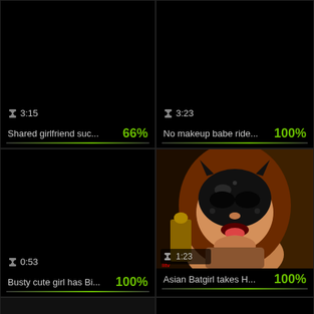[Figure (screenshot): Video thumbnail - black background, duration 3:15 bottom left]
3:15
Shared girlfriend suc...
66%
[Figure (screenshot): Video thumbnail - black background, duration 3:23 bottom left]
3:23
No makeup babe ride...
100%
[Figure (screenshot): Video thumbnail - black background, duration 0:53 bottom left]
0:53
Busty cute girl has Bi...
100%
[Figure (photo): Person wearing black latex cat mask, tongue out, close up photo. Duration badge 1:23 overlay. Watermark bottom left.]
1:23
Asian Batgirl takes H...
100%